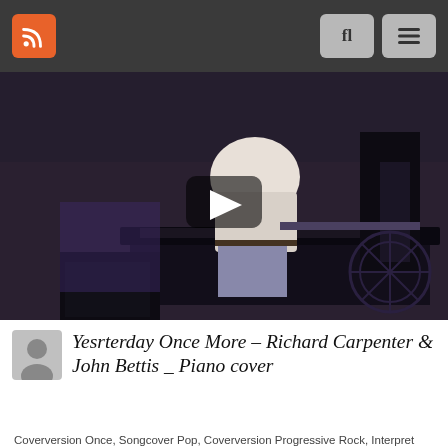Navigation bar with RSS icon and menu buttons
[Figure (screenshot): Video thumbnail showing a man playing piano in a dark room, with a YouTube-style play button overlay]
Yesrterday Once More – Richard Carpenter & John Bettis _ Piano cover
Coverversion Once, Songcover Pop, Coverversion Progressive Rock, Interpret Richard, Coverversion Yes, In A Word (Disc 3), In A Word: Yes (1969- ), - Disc 3,
Thanks For Watching 🙂 Facebook : https://www.facebook.com/PhucNgo95 new channel …
0